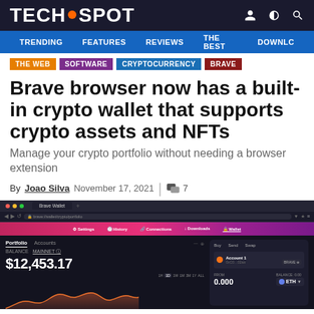TECHSPOT
TRENDING  FEATURES  REVIEWS  THE BEST  DOWNLC
THE WEB  SOFTWARE  CRYPTOCURRENCY  BRAVE
Brave browser now has a built-in crypto wallet that supports crypto assets and NFTs
Manage your crypto portfolio without needing a browser extension
By Joao Silva  November 17, 2021  | 7
[Figure (screenshot): Brave browser crypto wallet interface showing portfolio value of $12,453.17 with a price chart, portfolio and accounts tabs, and options to Buy, Send, Swap with ETH currency selector]